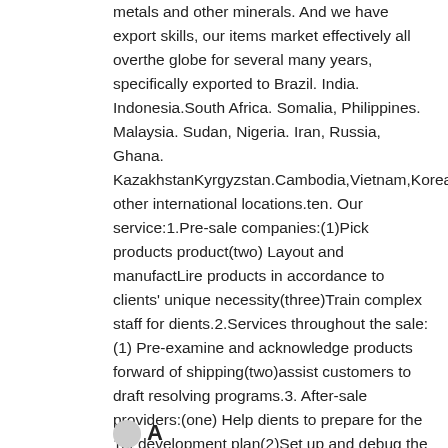metals and other minerals. And we have export skills, our items market effectively all overthe globe for several many years, specifically exported to Brazil. India. Indonesia.South Africa. Somalia, Philippines. Malaysia. Sudan, Nigeria. Iran, Russia, Ghana. KazakhstanKyrgyzstan.Cambodia,Vietnam,Korea,Mongoliaand other international locations.ten. Our service:1.Pre-sale companies:(1)Pick products product(two) Layout and manufactLire products in accordance to clients' unique necessity(three)Train complex staff for dients.2.Services throughout the sale:(1) Pre-examine and acknowledge products forward of shipping(two)assist customers to draft resolving programs.3. After-sale providers:(one) Help dients to prepare for the 1st development plan(2)Set up and debug the tools(three) Prepare the first-line operators on site11. FAQ
Q. A...